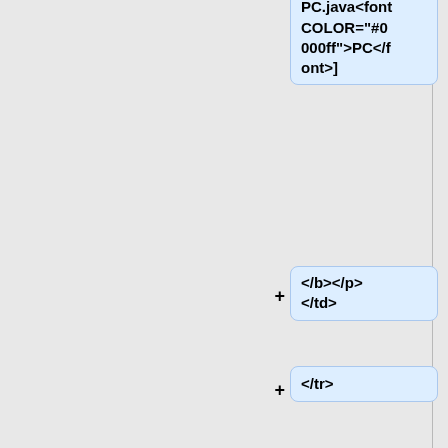12/20Glu12/PC.java<font COLOR="#0000ff">PC</font>]
</b></p>
</td>
</tr>
</table>
==Quarta prova scritta - 11 Luglio 2012==
<table cellpadding